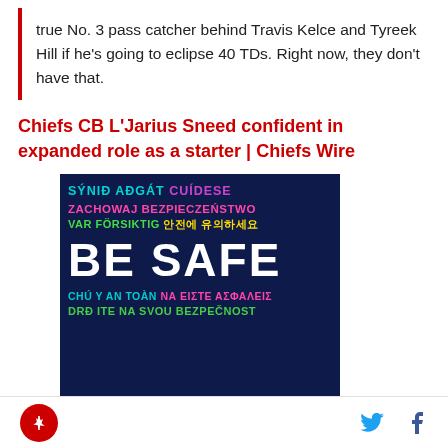true No. 3 pass catcher behind Travis Kelce and Tyreek Hill if he's going to eclipse 40 TDs. Right now, they don't have that.
Chiefs CB L'Jarius Sneed confident in expanded role as a starter | Chiefs Wire
[Figure (infographic): Dark navy blue background image with multilingual 'Be Safe' text. Lines read: SÝNIÐ AÐGÁT CUÍDESE (in cyan, pink, purple), ZACHOWAJ BEZPIECZEŃSTWO (in pink/magenta), VAR FÖRSIKTIG 안전에 유의하세요 (in green and yellow), BE SAFE (large white bold text), CHÚ Ý AN TOÀN NA ΕΙΣΤΕ ΑΣΦΑΛΕΙΣ (in cyan and pink), DRĐ ITE NA SVOU BEZPEČNOST (in green, partially visible)]
Logo icon | Twitter bird icon | Facebook f icon